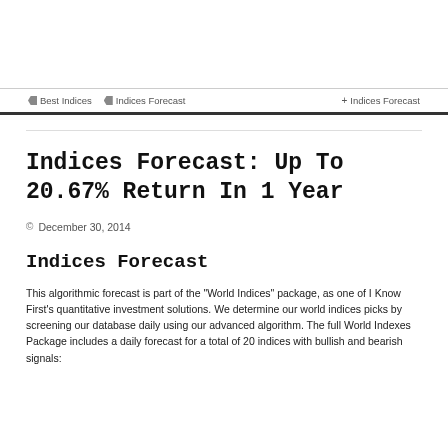Best Indices   Indices Forecast   + Indices Forecast
Indices Forecast: Up To 20.67% Return In 1 Year
December 30, 2014
Indices Forecast
This algorithmic forecast is part of the "World Indices" package, as one of I Know First's quantitative investment solutions. We determine our world indices picks by screening our database daily using our advanced algorithm. The full World Indexes Package includes a daily forecast for a total of 20 indices with bullish and bearish signals: